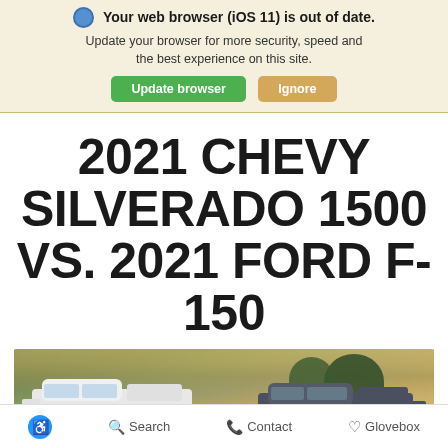Your web browser (iOS 11) is out of date. Update your browser for more security, speed and the best experience on this site. Update browser | Ignore
2021 CHEVY SILVERADO 1500 VS. 2021 FORD F-150
[Figure (photo): Two pickup trucks parked in a rural outdoor setting — a white truck on the left and a dark-colored truck on the right, with green fields and trees in the background.]
Accessibility  Search  Contact  Glovebox